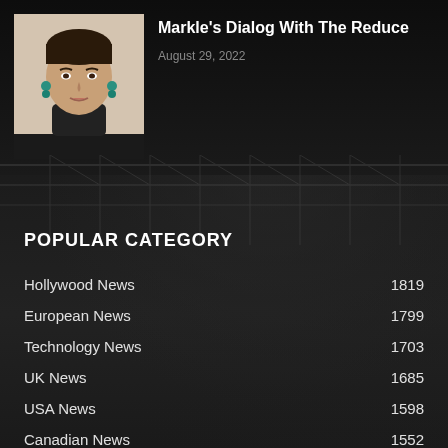[Figure (photo): Portrait photo of a woman with dark hair pulled back, wearing teal/green earrings and a black turtleneck, against a light background]
Markle's Dialog With The Reduce
August 29, 2022
POPULAR CATEGORY
Hollywood News  1819
European News  1799
Technology News  1703
UK News  1685
USA News  1598
Canadian News  1552
Fashion News  1457
Economics News  1375